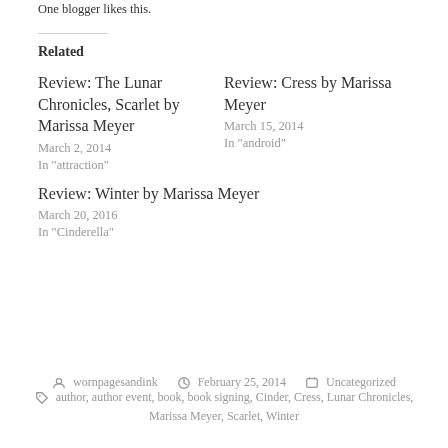One blogger likes this.
Related
Review: The Lunar Chronicles, Scarlet by Marissa Meyer
March 2, 2014
In "attraction"
Review: Cress by Marissa Meyer
March 15, 2014
In "android"
Review: Winter by Marissa Meyer
March 20, 2016
In "Cinderella"
wornpagesandink   February 25, 2014   Uncategorized
author, author event, book, book signing, Cinder, Cress, Lunar Chronicles, Marissa Meyer, Scarlet, Winter